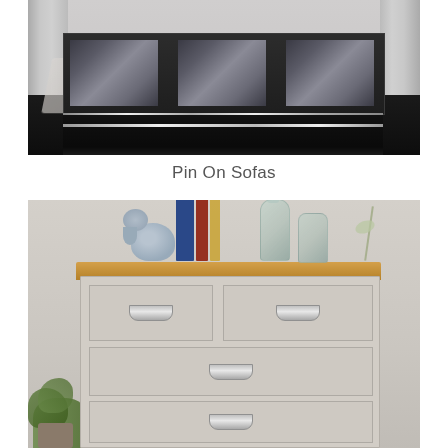[Figure (photo): Dark/charcoal sideboard with mirror panels and chrome base strip on dark reflective floor with light gray patterned rug and pillar details]
Pin On Sofas
[Figure (photo): White/cream painted chest of drawers with oak top surface, cup handles, decorated with elephant figurine, books, and glass vase. Green plant visible at bottom left. Light gray background wall.]